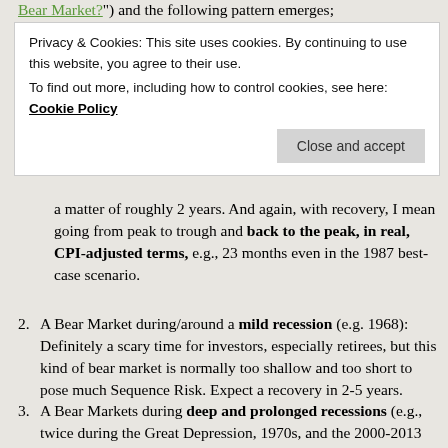"Bear Market?") and the following pattern emerges;
Privacy & Cookies: This site uses cookies. By continuing to use this website, you agree to their use.
To find out more, including how to control cookies, see here: Cookie Policy
a matter of roughly 2 years. And again, with recovery, I mean going from peak to trough and back to the peak, in real, CPI-adjusted terms, e.g., 23 months even in the 1987 best-case scenario.
A Bear Market during/around a mild recession (e.g. 1968): Definitely a scary time for investors, especially retirees, but this kind of bear market is normally too shallow and too short to pose much Sequence Risk. Expect a recovery in 2-5 years.
A Bear Markets during deep and prolonged recessions (e.g., twice during the Great Depression, 1970s, and the 2000-2013 period): A